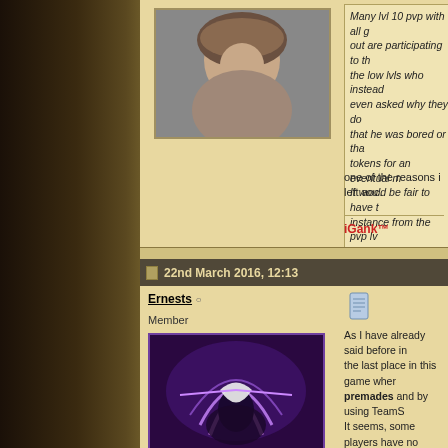[Figure (photo): Avatar image of a fantasy female character with headdress]
Many lvl 10 pvp with all g... out are participating to t... the low lvls who instead... even asked why they do... that he was bored or tha... tokens for an eventual m... It would be fair to have t... instance from the pvp lv...
one of the reasons i left aoc.
iGank™
22nd March 2016, 12:13
Ernests
Member
[Figure (photo): Avatar image of a dark fantasy character with purple lightning]
As I have already said before in... the last place in this game wher... premades and by using TeamS... It seems, some players have no... posible join with your premade...